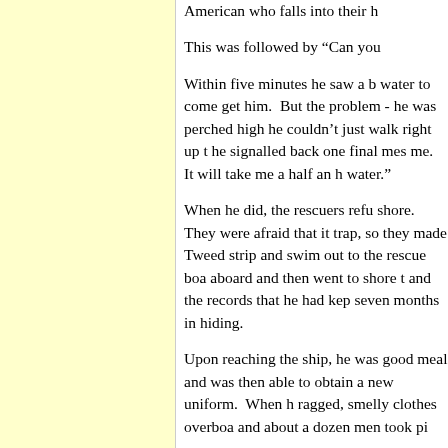American who falls into their h
This was followed by “Can you
Within five minutes he saw a b water to come get him.  But the problem - he was perched high he couldn’t just walk right up t he signalled back one final mes me.  It will take me a half an h water.”
When he did, the rescuers refu shore.  They were afraid that it trap, so they made Tweed strip and swim out to the rescue boa aboard and then went to shore t and the records that he had kep seven months in hiding.
Upon reaching the ship, he was good meal and was then able to obtain a new uniform.  When h ragged, smelly clothes overboa and about a dozen men took pi